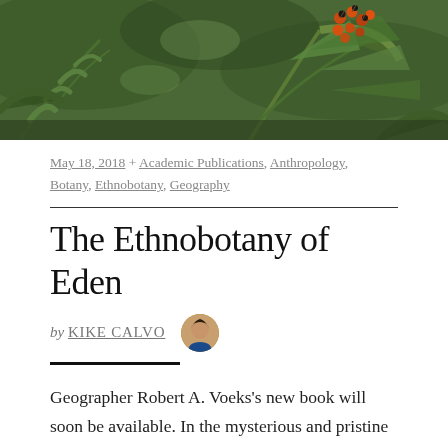[Figure (photo): A photograph of tropical plants with orange/red berries and green fern-like foliage against a natural forest background.]
May 18, 2018 + Academic Publications, Anthropology, Botany, Ethnobotany, Geography
The Ethnobotany of Eden
by KIKE CALVO
Geographer Robert A. Voeks's new book will soon be available. In the mysterious and pristine forests of the tropics, a wealth of ethnobotanical panaceas and shamanic knowledge promises cures for everything from cancer and AIDS to the common cold. To access such miracles, we need only to